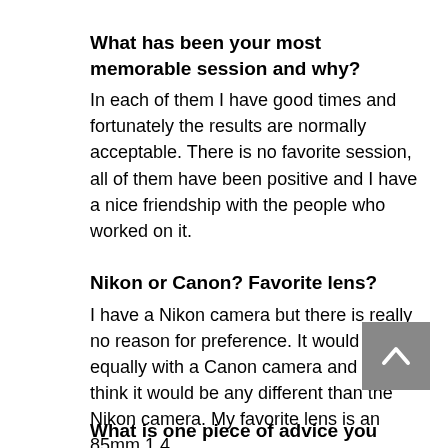What has been your most memorable session and why?
In each of them I have good times and fortunately the results are normally acceptable. There is no favorite session, all of them have been positive and I have a nice friendship with the people who worked on it.
Nikon or Canon? Favorite lens?
I have a Nikon camera but there is really no reason for preference. It would work equally with a Canon camera and I don't think it would be any different than the Nikon camera. My favorite lens is an 85mm 1.4
What is one piece of advice you